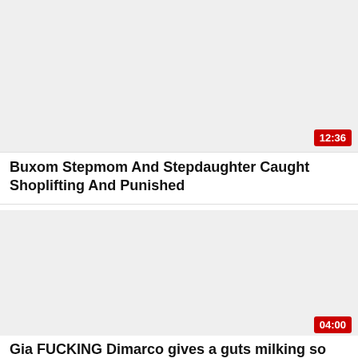[Figure (screenshot): Video thumbnail placeholder (light gray background) for first video]
12:36
Buxom Stepmom And Stepdaughter Caught Shoplifting And Punished
[Figure (screenshot): Video thumbnail placeholder (light gray background) for second video]
04:00
Gia FUCKING Dimarco gives a guts milking so heavy you